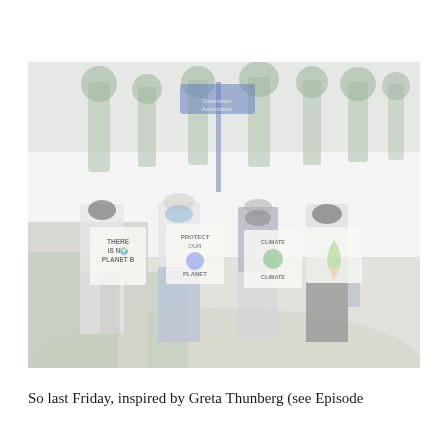[Figure (photo): Four people wearing face masks standing on a sidewalk holding climate protest signs. Signs read: 'THERE IS NO PLANET B', 'PROTECT OUR PLANET', 'CLIMATE STOP CLIMATE' (with Earth graphic), and a fourth sign with a melting ice cream cone graphic. Trees and a blue street sign are visible in the background.]
So last Friday, inspired by Greta Thunberg (see Episode